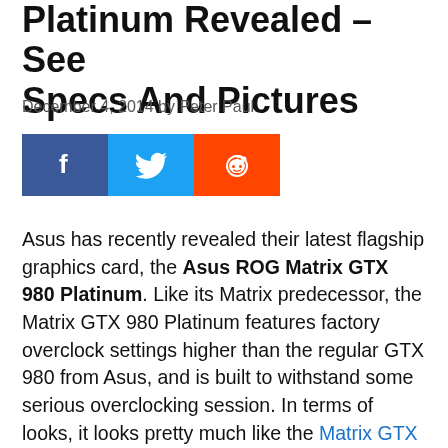Platinum Revealed – See Specs And Pictures
December 4, 2014 by Peter Paul
[Figure (other): Social share buttons: Facebook, Twitter, Reddit]
Asus has recently revealed their latest flagship graphics card, the Asus ROG Matrix GTX 980 Platinum. Like its Matrix predecessor, the Matrix GTX 980 Platinum features factory overclock settings higher than the regular GTX 980 from Asus, and is built to withstand some serious overclocking session. In terms of looks, it looks pretty much like the Matrix GTX 780 Ti and Matrix R9 290X. Under the hood is a GM204 core with a 14 Phase Digi+ II VRM and a